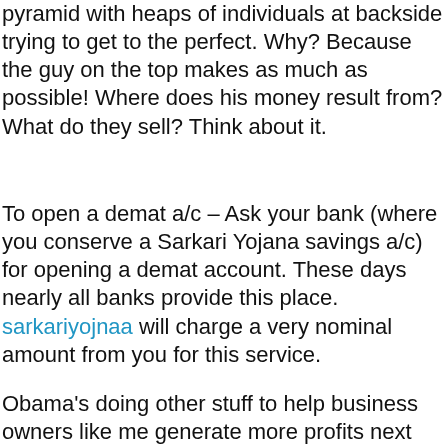pyramid with heaps of individuals at backside trying to get to the perfect. Why? Because the guy on the top makes as much as possible! Where does his money result from? What do they sell? Think about it.
To open a demat a/c – Ask your bank (where you conserve a Sarkari Yojana savings a/c) for opening a demat account. These days nearly all banks provide this place. sarkariyojnaa will charge a very nominal amount from you for this service.
Obama's doing other stuff to help business owners like me generate more profits next year. I've never considered selling my products overseas but now I'm contemplating of it. He explained he desires to double exports by 2015, so the U.S. Export-Import bank just launched new initiatives assistance us...